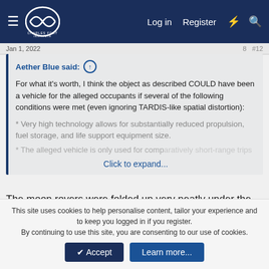Charles Fort Institute — Log in | Register
Jan 1, 2022
Aether Blue said: ↑

For what it's worth, I think the object as described COULD have been a vehicle for the alleged occupants if several of the following conditions were met (even ignoring TARDIS-like spatial distortion):

* Very high technology allows for substantially reduced propulsion, fuel storage, and life support equipment size.

* The alleged vehicle is only used for comparatively short-range trips

Click to expand...
The moon rovers were folded up very neatly under the Apollo Lunar Module but quite a size when unfolded, so you have a point re some form of artificial life form designed for planetary exploration. What troubles me though is how the beings were
This site uses cookies to help personalise content, tailor your experience and to keep you logged in if you register.
By continuing to use this site, you are consenting to our use of cookies.